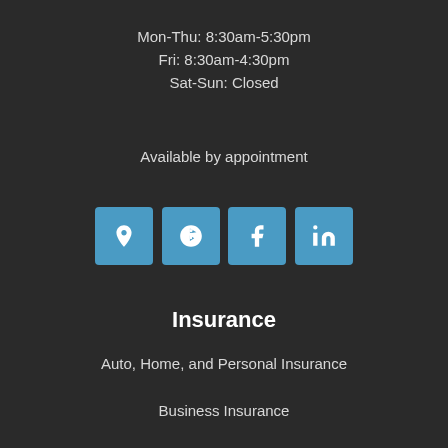Mon-Thu: 8:30am-5:30pm
Fri: 8:30am-4:30pm
Sat-Sun: Closed
Available by appointment
[Figure (infographic): Four social media / directory icon buttons in blue squares: Google Maps pin icon, Yelp icon, Facebook icon, LinkedIn icon]
Insurance
Auto, Home, and Personal Insurance
Business Insurance
Life Insurance